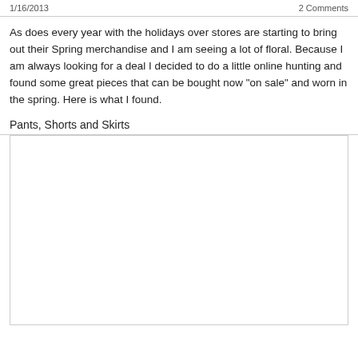1/16/2013    2 Comments
As does every year with the holidays over stores are starting to bring out their Spring merchandise and I am seeing a lot of floral. Because I am always looking for a deal I decided to do a little online hunting and found some great pieces that can be bought now "on sale" and worn in the spring. Here is what I found.
Pants, Shorts and Skirts
[Figure (other): Empty white box placeholder for product images]